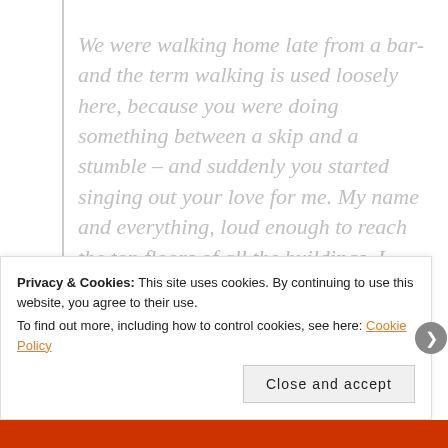We were walking home late from a bar- and the term walking is used loosely here, because you were doing something between a skip and a stumble – and suddenly you started singing out your love for me. My name and everything, loud enough to reach the top floors of all the buildings. I should have told you to stop, but I didn't want you to stop. I didn't mind if your love for me woke people up. I didn't mind if it somehow sneaked into their
Privacy & Cookies: This site uses cookies. By continuing to use this website, you agree to their use.
To find out more, including how to control cookies, see here: Cookie Policy
Close and accept